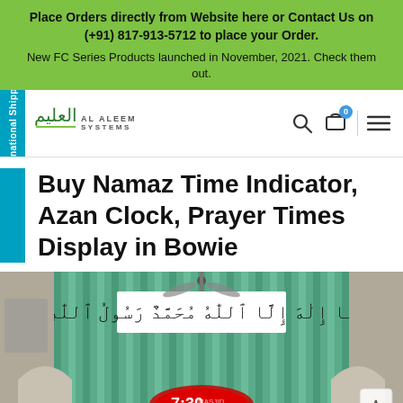Place Orders directly from Website here or Contact Us on (+91) 817-913-5712 to place your Order.
New FC Series Products launched in November, 2021. Check them out.
[Figure (logo): Al-Aleem Systems logo with Arabic script above the text AL ALEEM SYSTEMS]
Buy Namaz Time Indicator, Azan Clock, Prayer Times Display in Bowie
[Figure (photo): Interior of a mosque showing a prayer times display board with red LED showing 7:30, green and white walls with Islamic calligraphy banner, ceiling fan, and arched doorways]